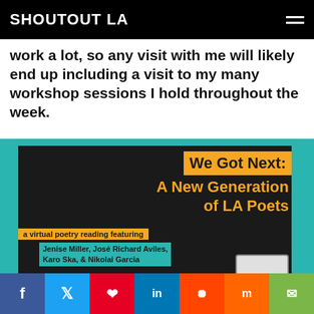SHOUTOUT LA
work a lot, so any visit with me will likely end up including a visit to my many workshop sessions I hold throughout the week.
[Figure (illustration): Event flyer for 'We Got Next: A New Generation of LA Poets' — a virtual poetry reading featuring Jenise Miller, José Richard Aviles, Karo Ska, & Nikolai Garcia on Sunday, August 20th at 5:00pm online. Teal background with dark inner panel, orange and teal text highlights.]
f  Twitter  Pinterest  in  Reddit  Mix  Email share buttons